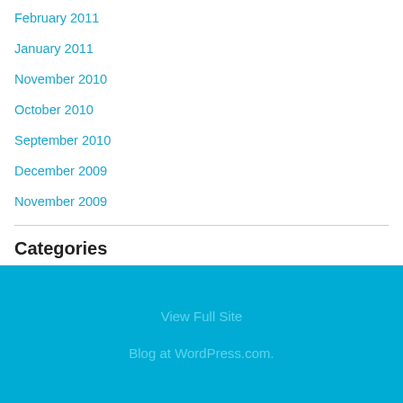February 2011
January 2011
November 2010
October 2010
September 2010
December 2009
November 2009
Categories
Horseback Riding (dropdown)
View Full Site
Blog at WordPress.com.